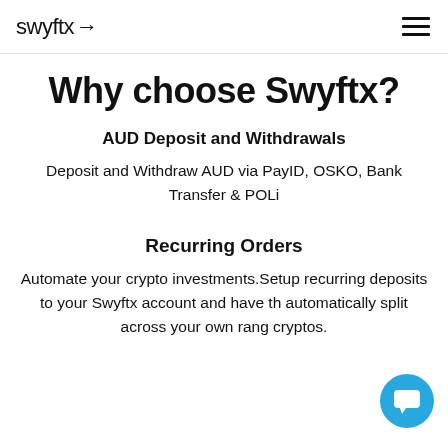swyftx
Why choose Swyftx?
AUD Deposit and Withdrawals
Deposit and Withdraw AUD via PayID, OSKO, Bank Transfer & POLi
Recurring Orders
Automate your crypto investments.Setup recurring deposits to your Swyftx account and have the automatically split across your own range of cryptos.